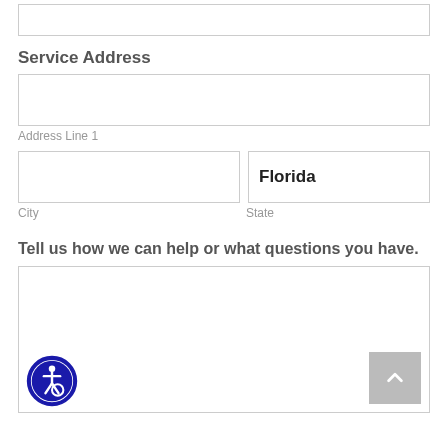Service Address
Address Line 1
City
Florida
State
Tell us how we can help or what questions you have.
[Figure (other): Large textarea input box with scroll-to-top button and accessibility icon]